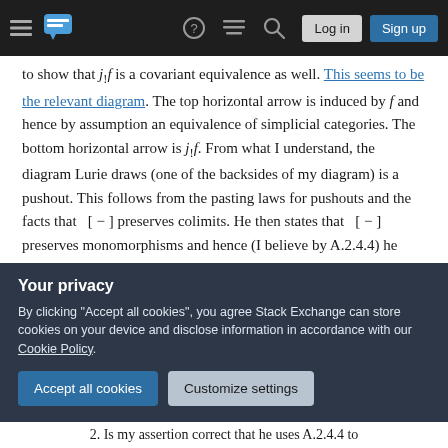Stack Exchange navigation bar with Log in and Sign up buttons
to show that j_!f is a covariant equivalence as well. This seems to be the relevant diagram. The top horizontal arrow is induced by f and hence by assumption an equivalence of simplicial categories. The bottom horizontal arrow is j_!f. From what I understand, the diagram Lurie draws (one of the backsides of my diagram) is a pushout. This follows from the pasting laws for pushouts and the facts that [ − ] preserves colimits. He then states that [ − ] preserves monomorphisms and hence (I believe by A.2.4.4) he deduces that it must be a homotopy pushout as well. According to Lurie we are
Your privacy
By clicking "Accept all cookies", you agree Stack Exchange can store cookies on your device and disclose information in accordance with our Cookie Policy.
Accept all cookies   Customize settings
2. Is my assertion correct that he uses A.2.4.4 to